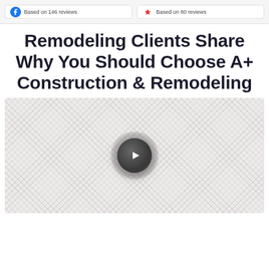[Figure (other): Two review boxes side by side — left shows Facebook icon with 'Based on 146 reviews', right shows a star/review icon with 'Based on 80 reviews']
Remodeling Clients Share Why You Should Choose A+ Construction & Remodeling
[Figure (other): Video thumbnail placeholder with chevron/herringbone pattern background and a dark circular play button in the center]